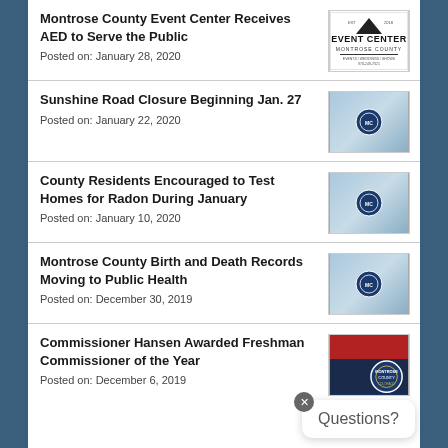Montrose County Event Center Receives AED to Serve the Public
Posted on: January 28, 2020
Sunshine Road Closure Beginning Jan. 27
Posted on: January 22, 2020
County Residents Encouraged to Test Homes for Radon During January
Posted on: January 10, 2020
Montrose County Birth and Death Records Moving to Public Health
Posted on: December 30, 2019
Commissioner Hansen Awarded Freshman Commissioner of the Year
Posted on: December 6, 2019